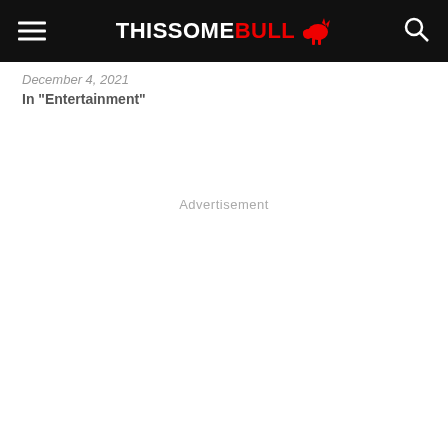THISSOME BULL
December 4, 2021
In "Entertainment"
Advertisement